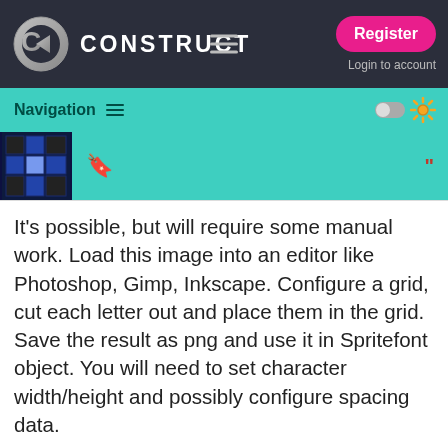CONSTRUCT — Register / Login to account
Navigation
It's possible, but will require some manual work. Load this image into an editor like Photoshop, Gimp, Inkscape. Configure a grid, cut each letter out and place them in the grid. Save the result as png and use it in Spritefont object. You will need to set character width/height and possibly configure spacing data.
aicreator · 1
Well,I tried to use the SpriteFont object but I was